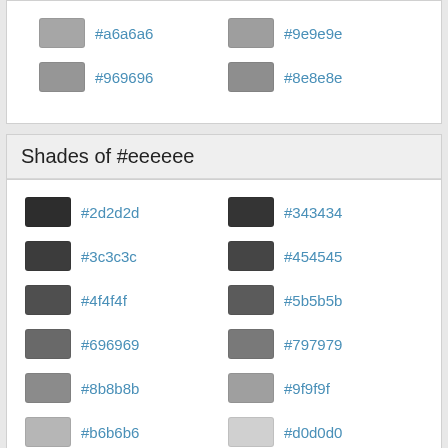#a6a6a6
#9e9e9e
#969696
#8e8e8e
Shades of #eeeeee
#2d2d2d
#343434
#3c3c3c
#454545
#4f4f4f
#5b5b5b
#696969
#797979
#8b8b8b
#9f9f9f
#b6b6b6
#d0d0d0
Tones of #eeeeee
#d6d6d6
#d7d7d7